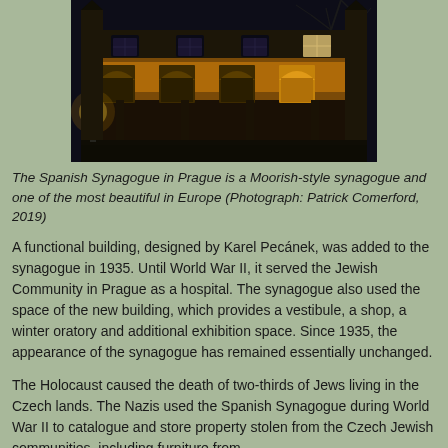[Figure (photo): Night photograph of the Spanish Synagogue in Prague, a Moorish-style building illuminated with warm golden light, showing ornate arched windows and facade details against a dark sky with bare tree branches visible.]
The Spanish Synagogue in Prague is a Moorish-style synagogue and one of the most beautiful in Europe (Photograph: Patrick Comerford, 2019)
A functional building, designed by Karel Pecánek, was added to the synagogue in 1935. Until World War II, it served the Jewish Community in Prague as a hospital. The synagogue also used the space of the new building, which provides a vestibule, a shop, a winter oratory and additional exhibition space. Since 1935, the appearance of the synagogue has remained essentially unchanged.
The Holocaust caused the death of two-thirds of Jews living in the Czech lands. The Nazis used the Spanish Synagogue during World War II to catalogue and store property stolen from the Czech Jewish communities, including furniture from